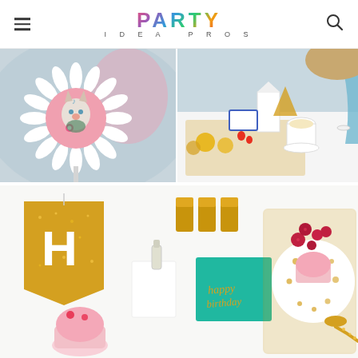PARTY IDEA PROS
[Figure (photo): Close-up of a decorative paper rosette with a illustrated fox/llama character on a pink background, party decoration]
[Figure (photo): Child at a party table with golden/yellow themed tableware, food including muffins and fruit, white tablecloth setting]
[Figure (photo): Flat lay of gold and teal party supplies including a glitter H banner flag, gold cups, teal napkins with gold calligraphy, cupcakes on gold tray with raspberries, gold glitter spoon]